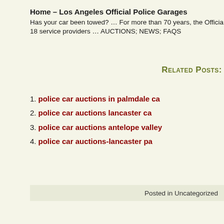Home – Los Angeles Official Police Garages
Has your car been towed? … For more than 70 years, the Official 18 service providers … AUCTIONS; NEWS; FAQS
Related Posts:
police car auctions in palmdale ca
police car auctions lancaster ca
police car auctions antelope valley
police car auctions-lancaster pa
Posted in Uncategorized